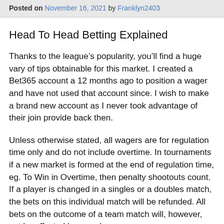Posted on November 16, 2021 by Franklyn2403
Head To Head Betting Explained
Thanks to the league’s popularity, you’ll find a huge vary of tips obtainable for this market. I created a Bet365 account a 12 months ago to position a wager and have not used that account since. I wish to make a brand new account as I never took advantage of their join provide back then.
Unless otherwise stated, all wagers are for regulation time only and do not include overtime. In tournaments if a new market is formed at the end of regulation time, eg. To Win in Overtime, then penalty shootouts count. If a player is changed in a singles or a doubles match, the bets on this individual match will be refunded. All bets on the outcome of a team match will, however, not be affected by any player…